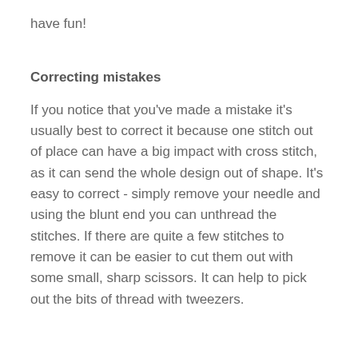have fun!
Correcting mistakes
If you notice that you've made a mistake it's usually best to correct it because one stitch out of place can have a big impact with cross stitch, as it can send the whole design out of shape. It's easy to correct - simply remove your needle and using the blunt end you can unthread the stitches. If there are quite a few stitches to remove it can be easier to cut them out with some small, sharp scissors. It can help to pick out the bits of thread with tweezers.